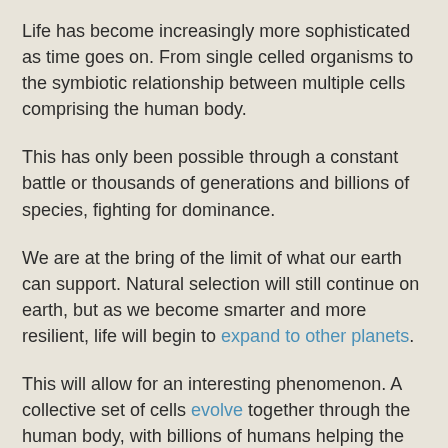Life has become increasingly more sophisticated as time goes on. From single celled organisms to the symbiotic relationship between multiple cells comprising the human body.
This has only been possible through a constant battle or thousands of generations and billions of species, fighting for dominance.
We are at the bring of the limit of what our earth can support. Natural selection will still continue on earth, but as we become smarter and more resilient, life will begin to expand to other planets.
This will allow for an interesting phenomenon. A collective set of cells evolve together through the human body, with billions of humans helping the process along at any given time.
Once we start expanding outside our own planet, and outside our own solar system, we are going to start observing societies acting collectively as one single unit